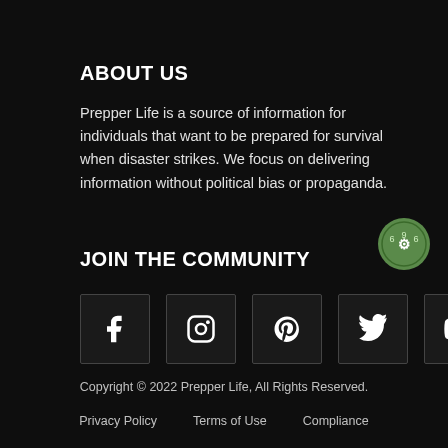ABOUT US
Prepper Life is a source of information for individuals that want to be prepared for survival when disaster strikes. We focus on delivering information without political bias or propaganda.
JOIN THE COMMUNITY
[Figure (illustration): Green circular badge/seal icon with decorative elements]
[Figure (infographic): Five social media icon boxes: Facebook, Instagram, Pinterest, Twitter, YouTube]
Copyright © 2022 Prepper Life, All Rights Reserved.
Privacy Policy   Terms of Use   Compliance